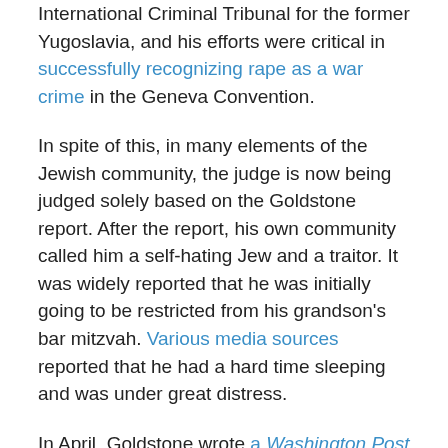International Criminal Tribunal for the former Yugoslavia, and his efforts were critical in successfully recognizing rape as a war crime in the Geneva Convention.
In spite of this, in many elements of the Jewish community, the judge is now being judged solely based on the Goldstone report. After the report, his own community called him a self-hating Jew and a traitor. It was widely reported that he was initially going to be restricted from his grandson's bar mitzvah. Various media sources reported that he had a hard time sleeping and was under great distress.
In April, Goldstone wrote a Washington Post op-ed in which he expressed regret over some of the Goldstone Report's conclusions, particularly that Israel killed civilians intentionally. Recently, Goldstone wrote a New York Times op-ed claiming that he and his co-authors...